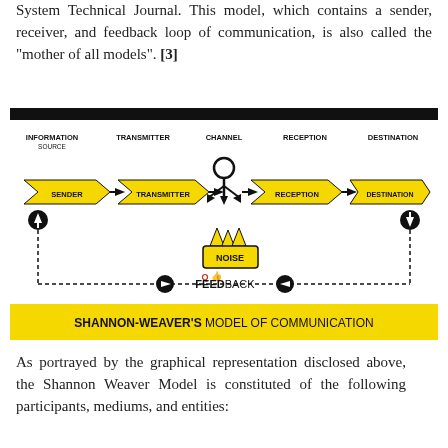System Technical Journal. This model, which contains a sender, receiver, and feedback loop of communication, is also called the "mother of all models". [3]
[Figure (infographic): Shannon-Weaver's Model of Communication diagram showing: INFORMATION SOURCE / SENDER arrow → TRANSMITTER arrow → CHANNEL (person icon with arrows) → RECEPTION arrow → DESTINATION arrow, with NOISE source below the channel, a dashed feedback loop arrow at the bottom labeled FEEDBACK with circle arrows, and a yellow banner at bottom reading SHANNON-WEAVER'S MODEL OF COMMUNICATION]
As portrayed by the graphical representation disclosed above, the Shannon Weaver Model is constituted of the following participants, mediums, and entities: